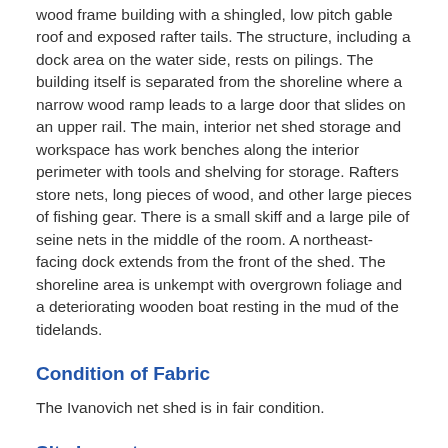wood frame building with a shingled, low pitch gable roof and exposed rafter tails. The structure, including a dock area on the water side, rests on pilings. The building itself is separated from the shoreline where a narrow wood ramp leads to a large door that slides on an upper rail. The main, interior net shed storage and workspace has work benches along the interior perimeter with tools and shelving for storage. Rafters store nets, long pieces of wood, and other large pieces of fishing gear. There is a small skiff and a large pile of seine nets in the middle of the room. A northeast-facing dock extends from the front of the shed. The shoreline area is unkempt with overgrown foliage and a deteriorating wooden boat resting in the mud of the tidelands.
Condition of Fabric
The Ivanovich net shed is in fair condition.
Site Layout